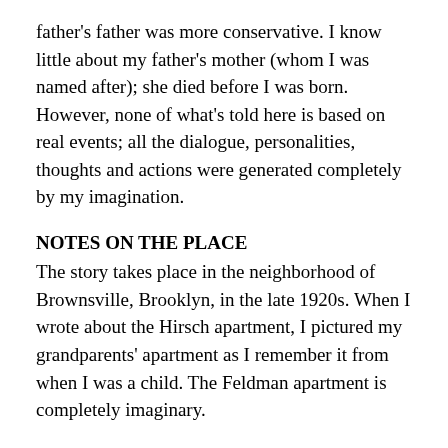father's father was more conservative. I know little about my father's mother (whom I was named after); she died before I was born. However, none of what's told here is based on real events; all the dialogue, personalities, thoughts and actions were generated completely by my imagination.
NOTES ON THE PLACE
The story takes place in the neighborhood of Brownsville, Brooklyn, in the late 1920s. When I wrote about the Hirsch apartment, I pictured my grandparents' apartment as I remember it from when I was a child. The Feldman apartment is completely imaginary.
NOTES ON THE HISTORY
There was a huge push to organize mine workers during the 1920s by the United Mine Workers of America and the